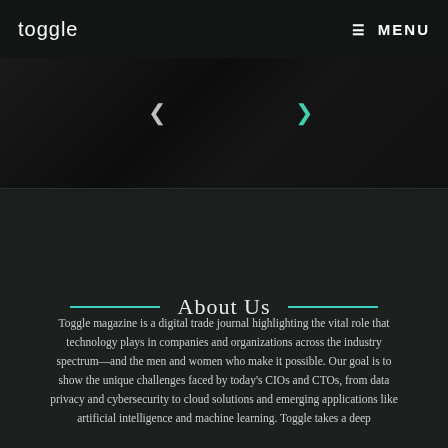toggle   MENU
[Figure (photo): Dark hero image area with left and right navigation arrows, partial images visible]
About Us
Toggle magazine is a digital trade journal highlighting the vital role that technology plays in companies and organizations across the industry spectrum—and the men and women who make it possible. Our goal is to show the unique challenges faced by today's CIOs and CTOs, from data privacy and cybersecurity to cloud solutions and emerging applications like artificial intelligence and machine learning. Toggle takes a deep